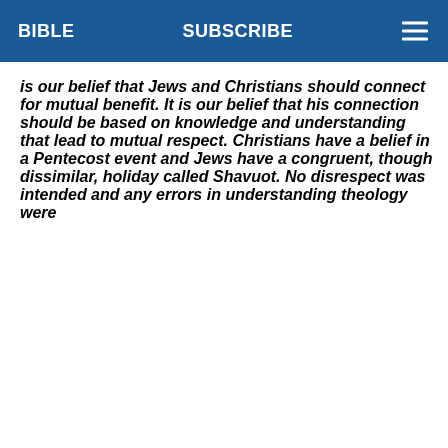BIBLE   SUBSCRIBE
is our belief that Jews and Christians should connect for mutual benefit. It is our belief that his connection should be based on knowledge and understanding that lead to mutual respect. Christians have a belief in a Pentecost event and Jews have a congruent, though dissimilar, holiday called Shavuot. No disrespect was intended and any errors in understanding theology were